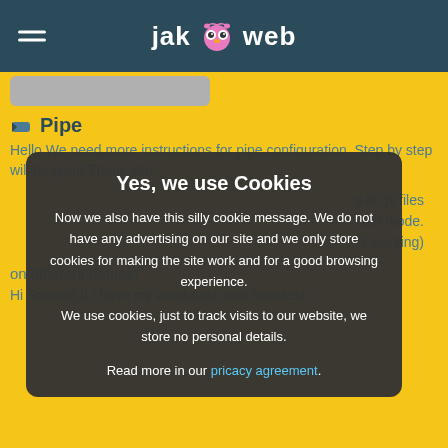jak web
[Figure (screenshot): Gray rectangle placeholder strip at top of yellow content area]
Pipe
Hello,We need more instructions for pipe configuration. Step by step will be good.Thank you
Yes, we use Cookies

Now we also have this silly cookie message. We do not have any advertising on our site and we only store cookies for making the site work and for a good browsing experience.

We use cookies, just to track visits to our website, we store no personal details.

Read more in our pricacy agreement.
g of .js files
uto mode.
is working)
on different domain
Hi Support,If I have my wordpress and helpdesk